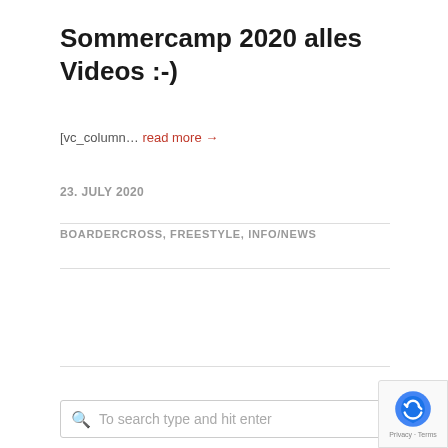Sommercamp 2020 alles Videos :-)
[vc_column... read more →
23. JULY 2020
BOARDERCROSS, FREESTYLE, INFO/NEWS